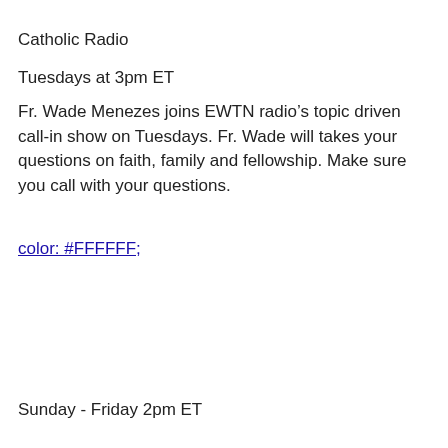Catholic Radio
Tuesdays at 3pm ET
Fr. Wade Menezes joins EWTN radio’s topic driven call-in show on Tuesdays. Fr. Wade will takes your questions on faith, family and fellowship. Make sure you call with your questions.
color: #FFFFFF;
Sunday - Friday 2pm ET